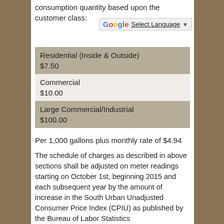consumption quantity based upon the customer class:
| Customer Class | Rate |
| --- | --- |
| Residential (Inside & Outside) | $7.50 |
| Commercial | $10.00 |
| Large Commercial/Industrial | $100.00 |
Per 1,000 gallons plus monthly rate of $4.94
The schedule of charges as described in above sections shall be adjusted on meter readings starting on October 1st, beginning 2015 and each subsequent year by the amount of increase in the South Urban Unadjusted Consumer Price Index (CPIU) as published by the Bureau of Labor Statistics http://data.bls.gov/pdq/SurveyOutputServlet?